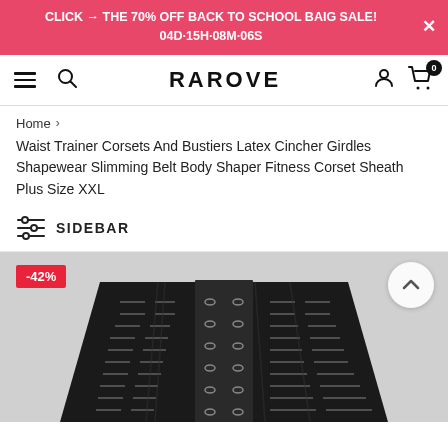CLICK → THE 70% OFF BACK TO SCHOOL BAIG SALE!
04D·15H·08M·06S
RAROVE
Home > Waist Trainer Corsets And Bustiers Latex Cincher Girdles Shapewear Slimming Belt Body Shaper Fitness Corset Sheath Plus Size XXL
SIDEBAR
[Figure (photo): Black latex waist trainer corset with hook-and-eye closures and perforated fabric detail, shown against light background. Discount badge showing -42% in top left corner.]